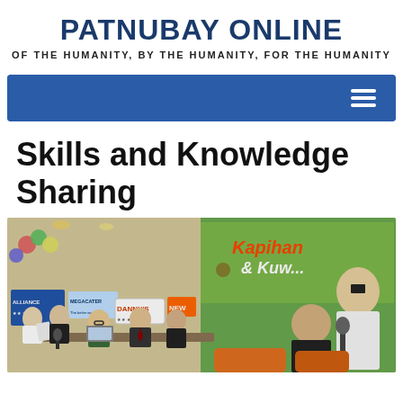PATNUBAY ONLINE
OF THE HUMANITY, BY THE HUMANITY, FOR THE HUMANITY
[Figure (screenshot): Navigation bar with blue background and hamburger menu icon on the right]
Skills and Knowledge Sharing
[Figure (photo): Group of people at an event with banners including Danny's and Alliance brands. A man in white shirt stands holding a microphone on the right. Others are seated at a table with laptops. Background has a colorful Kapihan at Kuwentuhan sign.]